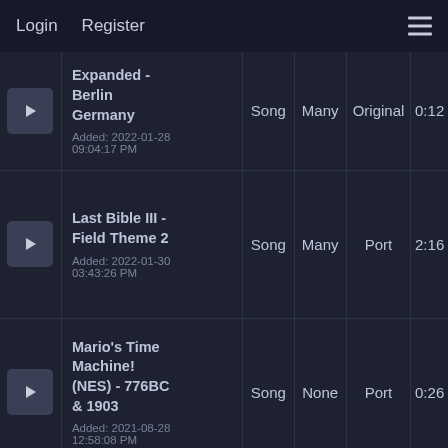Login   Register   ☰
|  | Title/Added | Type | Voices | Version | Duration |
| --- | --- | --- | --- | --- | --- |
| ▶ | Expanded - Berlin Germany
Added: 2022-01-28 09:04:17 PM | Song | Many | Original | 0:12 |
| ▶ | Last Bible III - Field Theme 2
Added: 2022-01-30 03:43:26 PM | Song | Many | Port | 2:16 |
| ▶ | Mario's Time Machine! (NES) - 776BC & 1903
Added: 2021-08-28 12:58:08 PM | Song | None | Port | 0:26 |
| ▶ | Jikkyou Oshaberi |  |  |  |  |